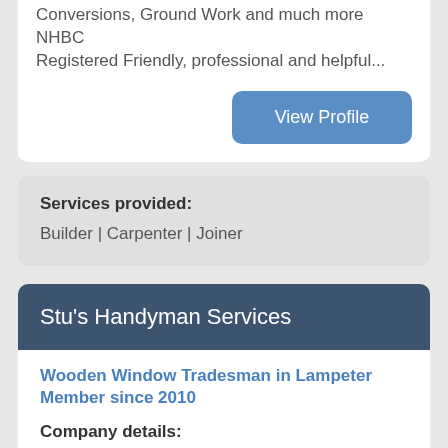Conversions, Ground Work and much more NHBC Registered Friendly, professional and helpful...
View Profile
Services provided:
Builder | Carpenter | Joiner
Stu's Handyman Services
Wooden Window Tradesman in Lampeter
Member since 2010
Company details:
General Carpentry & Maintenance interior & exterior. Chimnies swept. Fitted Kitchens & Bathrooms. Interior & exterior painting. General household repairs.